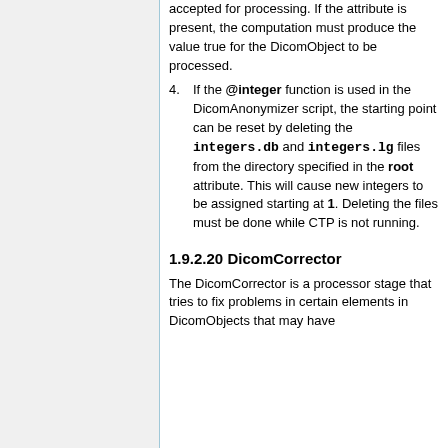accepted for processing. If the attribute is present, the computation must produce the value true for the DicomObject to be processed.
4. If the @integer function is used in the DicomAnonymizer script, the starting point can be reset by deleting the integers.db and integers.lg files from the directory specified in the root attribute. This will cause new integers to be assigned starting at 1. Deleting the files must be done while CTP is not running.
1.9.2.20 DicomCorrector
The DicomCorrector is a processor stage that tries to fix problems in certain elements in DicomObjects that may have been created by non-conforming...